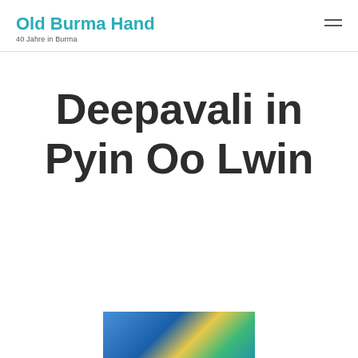Old Burma Hand
40 Jahre in Burma
Deepavali in Pyin Oo Lwin
[Figure (photo): Partial view of a colorful photo at the bottom of the page, showing what appears to be a decorated building or temple scene in Pyin Oo Lwin]